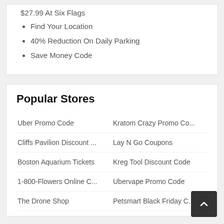$27.99 At Six Flags
Find Your Location
40% Reduction On Daily Parking
Save Money Code
Popular Stores
Uber Promo Code
Kratom Crazy Promo Co...
Cliffs Pavilion Discount ...
Lay N Go Coupons
Boston Aquarium Tickets
Kreg Tool Discount Code
1-800-Flowers Online C...
Ubervape Promo Code
The Drone Shop
Petsmart Black Friday C...